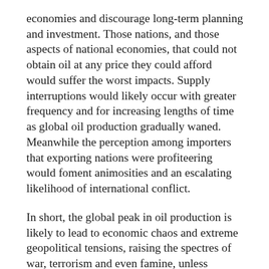economies and discourage long-term planning and investment. Those nations, and those aspects of national economies, that could not obtain oil at any price they could afford would suffer the worst impacts. Supply interruptions would likely occur with greater frequency and for increasing lengths of time as global oil production gradually waned. Meanwhile the perception among importers that exporting nations were profiteering would foment animosities and an escalating likelihood of international conflict.
In short, the global peak in oil production is likely to lead to economic chaos and extreme geopolitical tensions, raising the spectres of war, terrorism and even famine, unless nations adopt some method of cooperatively reducing their reliance upon oil.
O...